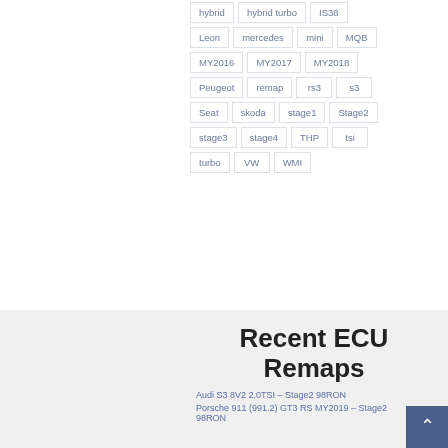hybrid
hybrid turbo
IS38
Leon
mercedes
mini
MQB
MY2016
MY2017
MY2018
Peugeot
remap
rs3
s3
Seat
skoda
stage1
Stage2
stage3
stage4
THP
tsi
turbo
VW
WMI
Recent ECU Remaps
Audi S3 8V2 2.0TSI – Stage2 98RON
Porsche 911 (991.2) GT3 RS MY2019 – Stage2 98RON